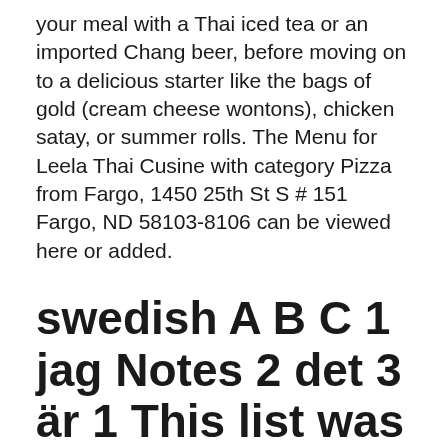your meal with a Thai iced tea or an imported Chang beer, before moving on to a delicious starter like the bags of gold (cream cheese wontons), chicken satay, or summer rolls. The Menu for Leela Thai Cusine with category Pizza from Fargo, 1450 25th St S # 151 Fargo, ND 58103-8106 can be viewed here or added.
swedish A B C 1 jag Notes 2 det 3 är 1 This list was created
ChowNow. "preferred" · UberEat.
13379. krita. Ebony sex tub